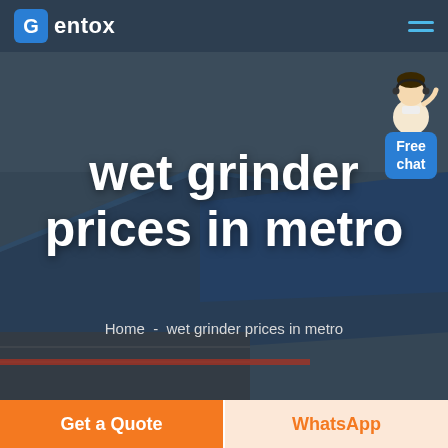Gentox – navigation bar with logo and hamburger menu
[Figure (photo): Aerial photograph of a large industrial/manufacturing facility with blue-roofed warehouse buildings, overlaid with a dark semi-transparent layer. A customer service agent figure appears in the top right with a 'Free chat' button.]
wet grinder prices in metro
Home  -  wet grinder prices in metro
Get a Quote
WhatsApp